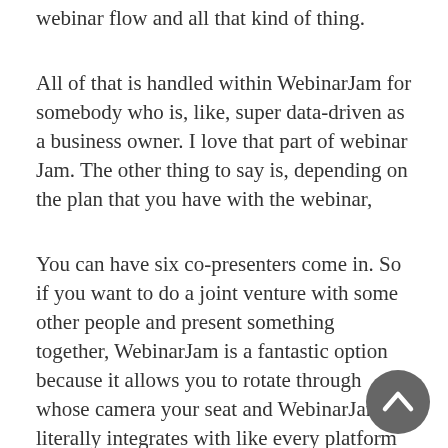webinar flow and all that kind of thing.
All of that is handled within WebinarJam for somebody who is, like, super data-driven as a business owner. I love that part of webinar Jam. The other thing to say is, depending on the plan that you have with the webinar,
You can have six co-presenters come in. So if you want to do a joint venture with some other people and present something together, WebinarJam is a fantastic option because it allows you to rotate through whose camera your seat and WebinarJam, literally integrates with like every platform out there.